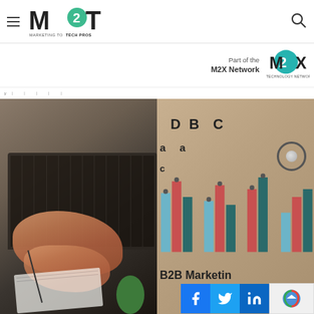M2T - Marketing to Tech Pros
[Figure (logo): M2X Network logo with text 'Part of the M2X Network Technology Network']
[Figure (photo): Main article image showing a person typing on a laptop on the left side, and a B2B Marketing chart with colored bars labeled A, B, C, D on the right side. Social media share buttons (Facebook, Twitter, LinkedIn) visible at the bottom right.]